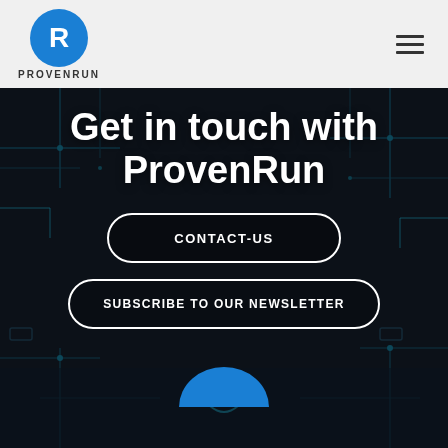[Figure (logo): ProvenRun logo: blue circle with white 'R' letter mark, text 'PROVENRUN' below]
[Figure (illustration): Dark circuit board background with teal/cyan glowing circuit traces and electronic components]
Get in touch with ProvenRun
CONTACT-US
SUBSCRIBE TO OUR NEWSLETTER